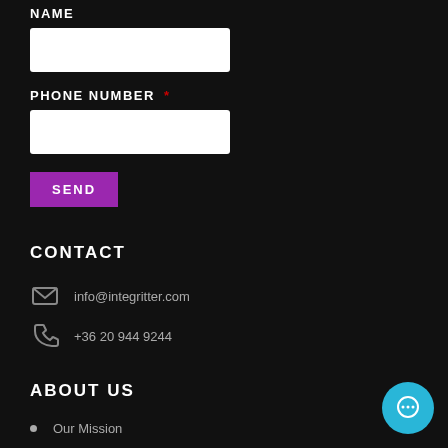NAME
[Figure (other): White rectangular input field for name]
PHONE NUMBER *
[Figure (other): White rectangular input field for phone number]
SEND
CONTACT
info@integritter.com
+36 20 944 9244
ABOUT US
Our Mission
Katalin Pallai